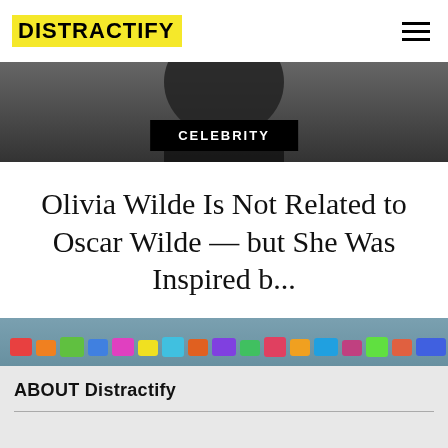DISTRACTIFY
[Figure (photo): Partial photo of a person in black clothing at top of page]
CELEBRITY
Olivia Wilde Is Not Related to Oscar Wilde — but She Was Inspired b...
[Figure (photo): Photo of a person with curly dark hair and glasses peeking up, with colorful paper fish garland decoration in the background]
ABOUT Distractify